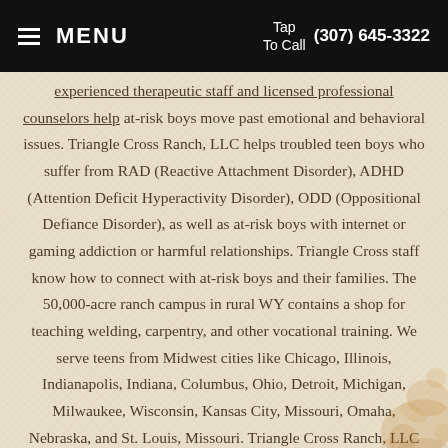MENU | Tap To Call (307) 645-3322
experienced therapeutic staff and licensed professional counselors help at-risk boys move past emotional and behavioral issues. Triangle Cross Ranch, LLC helps troubled teen boys who suffer from RAD (Reactive Attachment Disorder), ADHD (Attention Deficit Hyperactivity Disorder), ODD (Oppositional Defiance Disorder), as well as at-risk boys with internet or gaming addiction or harmful relationships. Triangle Cross staff know how to connect with at-risk boys and their families. The 50,000-acre ranch campus in rural WY contains a shop for teaching welding, carpentry, and other vocational training. We serve teens from Midwest cities like Chicago, Illinois, Indianapolis, Indiana, Columbus, Ohio, Detroit, Michigan, Milwaukee, Wisconsin, Kansas City, Missouri, Omaha, Nebraska, and St. Louis, Missouri. Triangle Cross Ranch, LLC is an affordable Christian boarding school for troubled teenage boys. Our boys ranch enrolls troubled teens from across America including from Texas, Ohio, Missouri, Kansas, Louisiana, Tennessee, Arkansas and Illinois. Most of our troubled teen boys come from California, Oregon,